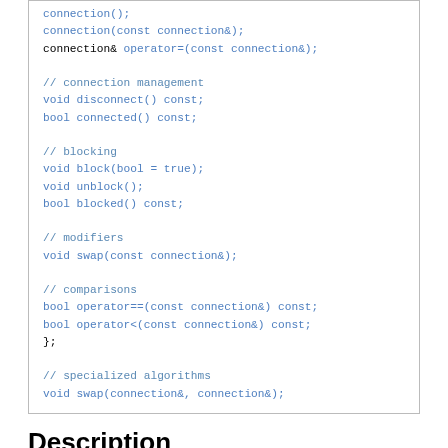[Figure (screenshot): C++ code block showing class member declarations for connection class including copy constructor, assignment operator, connection management methods (disconnect, connected), blocking methods (block, unblock, blocked), modifiers (swap), comparisons (operator==, operator<), closing brace, and specialized algorithms (swap function)]
Description
The connection class represents a connection between a Signal and a Slot. It is a lightweight object that has the ability to query whether the signal and slot are currently connected, and to disconnect the signal and slot. It is always safe to query or disconnect a connection.